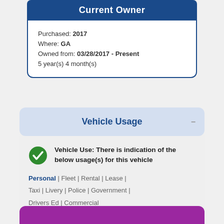Current Owner
Purchased: 2017
Where: GA
Owned from: 03/28/2017 - Present
5 year(s) 4 month(s)
Vehicle Usage
Vehicle Use: There is indication of the below usage(s) for this vehicle
Personal | Fleet | Rental | Lease |
Taxi | Livery | Police | Government |
Drivers Ed | Commercial